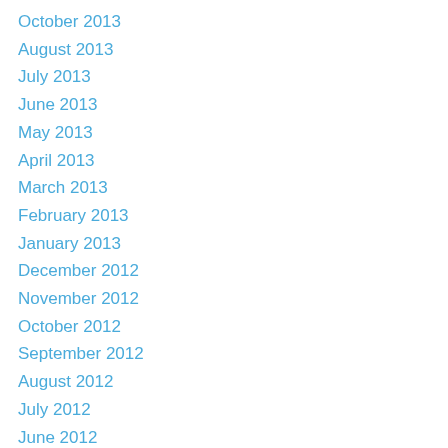October 2013
August 2013
July 2013
June 2013
May 2013
April 2013
March 2013
February 2013
January 2013
December 2012
November 2012
October 2012
September 2012
August 2012
July 2012
June 2012
May 2012
April 2012
March 2012
February 2012